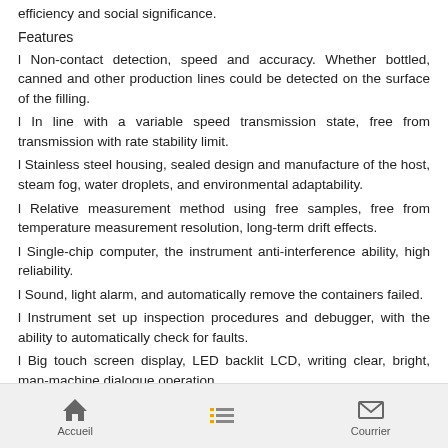efficiency and social significance.
Features
l Non-contact detection, speed and accuracy. Whether bottled, canned and other production lines could be detected on the surface of the filling.
l In line with a variable speed transmission state, free from transmission with rate stability limit.
l Stainless steel housing, sealed design and manufacture of the host, steam fog, water droplets, and environmental adaptability.
l Relative measurement method using free samples, free from temperature measurement resolution, long-term drift effects.
l Single-chip computer, the instrument anti-interference ability, high reliability.
l Sound, light alarm, and automatically remove the containers failed.
l Instrument set up inspection procedures and debugger, with the ability to automatically check for faults.
l Big touch screen display, LED backlit LCD, writing clear, bright, man-machine dialogue operation.
l Contain radioactive isotopes, radiation protection safe and reliable.
6 Air Blow Dryer
Accueil | (list) | Courrier